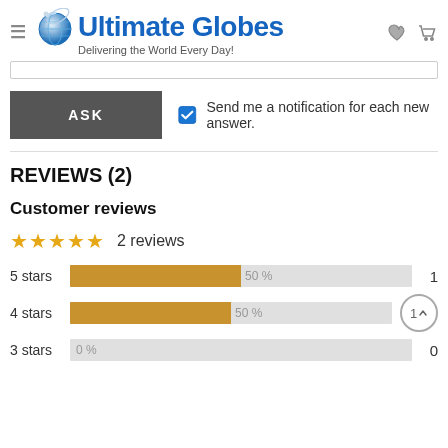Ultimate Globes — Delivering the World Every Day!
ASK
Send me a notification for each new answer.
REVIEWS (2)
Customer reviews
2 reviews
[Figure (bar-chart): Star ratings]